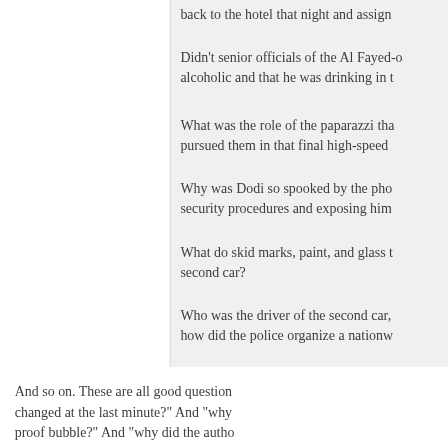back to the hotel that night and assign
Didn’t senior officials of the Al Fayed-o alcoholic and that he was drinking in t
What was the role of the paparazzi tha pursued them in that final high-speed
Why was Dodi so spooked by the pho security procedures and exposing him
What do skid marks, paint, and glass t second car?
Who was the driver of the second car, how did the police organize a nationw
And so on. These are all good question changed at the last minute?” And “why proof bubble?” And “why did the autho